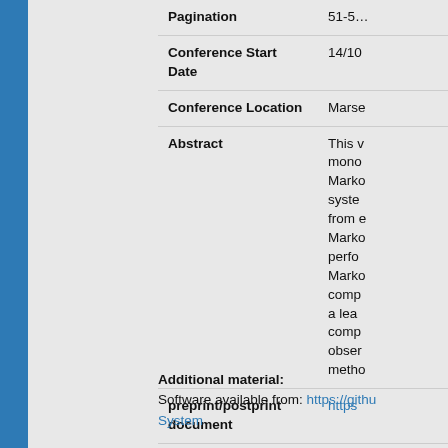| Field | Value |
| --- | --- |
| Pagination | 51-5… |
| Conference Start Date | 14/10… |
| Conference Location | Marse… |
| Abstract | This v… mono… Marko… syste… from … Marko… perfo… Marko… comp… a lea… comp… obser… metho… |
| preprint/postprint document | https… |
Additional material: Software available from: https://githu… System